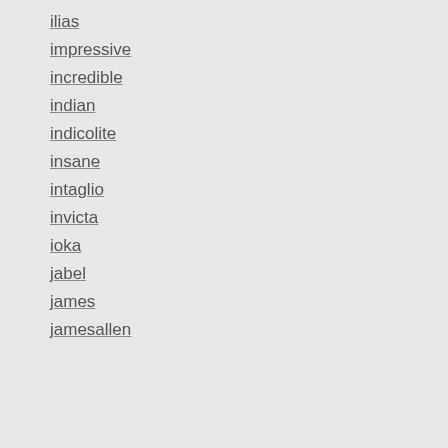ilias
impressive
incredible
indian
indicolite
insane
intaglio
invicta
ioka
jabel
james
jamesallen